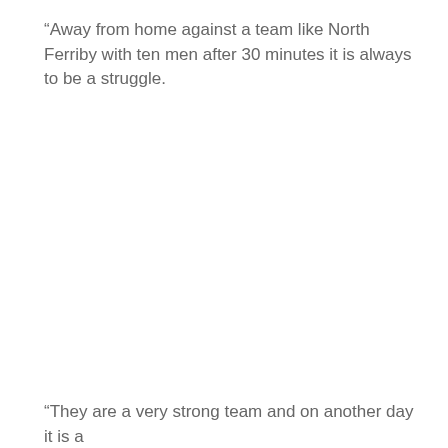“Away from home against a team like North Ferriby with ten men after 30 minutes it is always to be a struggle.
“They are a very strong team and on another day it is a